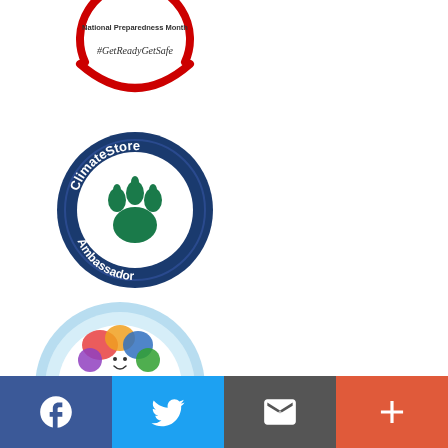[Figure (logo): National Preparedness Month badge with red arc and hashtag #GetReadyGetSafe]
[Figure (logo): ClimateStore Ambassador circular badge with navy blue border, paw print icon, text ClimateStore Ambassador]
[Figure (logo): Healthy Child Healthy World Blogger Network circular badge with light blue background and colorful children figures]
[Figure (infographic): Footer bar with four social/action buttons: Facebook (blue), Twitter (light blue), Email (dark gray), Plus/Add (orange-red)]